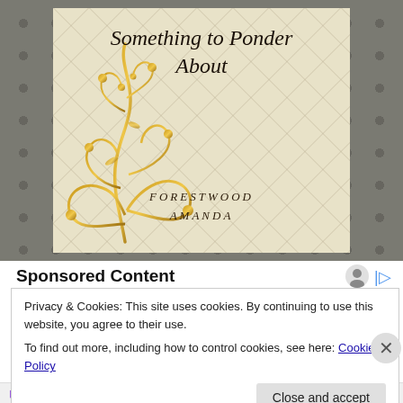[Figure (illustration): Book cover for 'Something to Ponder About' by Forestwood Amanda. Cream/beige quilted background with gold decorative floral flourish on left side. Grey border with polka dots surrounds the cover.]
Sponsored Content
Privacy & Cookies: This site uses cookies. By continuing to use this website, you agree to their use.
To find out more, including how to control cookies, see here: Cookie Policy
Close and accept